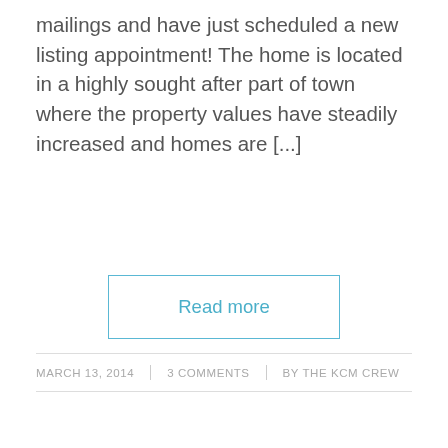mailings and have just scheduled a new listing appointment! The home is located in a highly sought after part of town where the property values have steadily increased and homes are [...]
Read more
MARCH 13, 2014 | 3 COMMENTS | BY THE KCM CREW